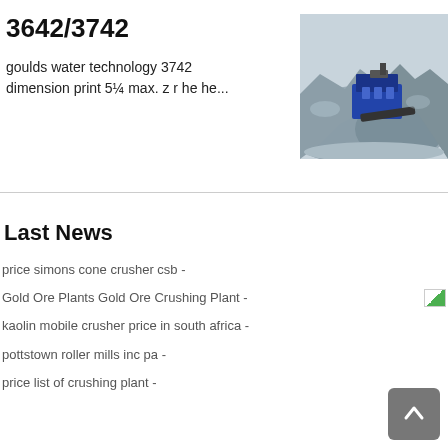3642/3742
goulds water technology 3742 dimension print 5¼ max. z r he he...
[Figure (photo): Aerial or ground-level photo of a mining crushing plant with machinery and gravel/ore piles]
Last News
price simons cone crusher csb -
Gold Ore Plants Gold Ore Crushing Plant -
kaolin mobile crusher price in south africa -
pottstown roller mills inc pa -
price list of crushing plant -